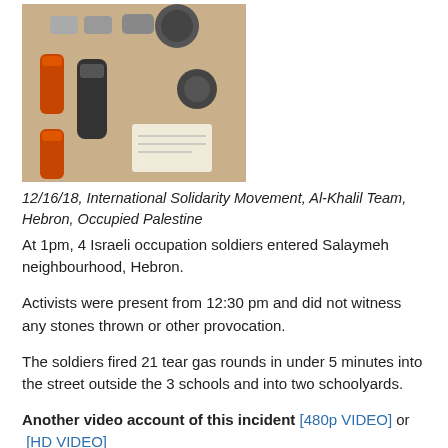[Figure (photo): Photo of tear gas canisters and cans laid out on a table surface]
12/16/18, International Solidarity Movement, Al-Khalil Team, Hebron, Occupied Palestine
At 1pm, 4 Israeli occupation soldiers entered Salaymeh neighbourhood, Hebron.
Activists were present from 12:30 pm and did not witness any stones thrown or other provocation.
The soldiers fired 21 tear gas rounds in under 5 minutes into the street outside the 3 schools and into two schoolyards.
Another video account of this incident [480p VIDEO] or [HD VIDEO]
There are 3 primary schools on the street where the tear gas was